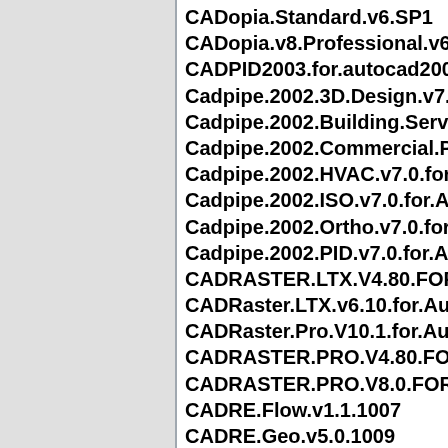CADopia.Standard.v6.SP1
CADopia.v8.Professional.v6.4.2
CADPID2003.for.autocad2002
Cadpipe.2002.3D.Design.v7.0.fo
Cadpipe.2002.Building.Services
Cadpipe.2002.Commercial.PIPE
Cadpipe.2002.HVAC.v7.0.for.Au
Cadpipe.2002.ISO.v7.0.for.Auto
Cadpipe.2002.Ortho.v7.0.for.Au
Cadpipe.2002.PID.v7.0.for.Auto
CADRASTER.LTX.V4.80.FOR.F
CADRaster.LTX.v6.10.for.AutoC
CADRaster.Pro.V10.1.for.AutoC
CADRASTER.PRO.V4.80.FOR.P
CADRASTER.PRO.V8.0.FOR.AU
CADRE.Flow.v1.1.1007
CADRE.Geo.v5.0.1009
CADRE.Pro.v5.0.2.6
cadre.profiler.v2.0.6003.83711
cadre.rescol.v2.0.1.4.54428
cads.hypersteel.v7.1.sp1